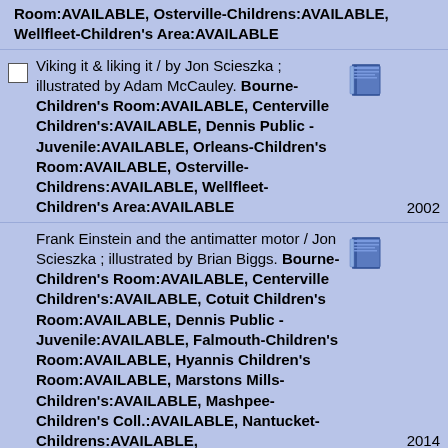Room:AVAILABLE, Osterville-Childrens:AVAILABLE, Wellfleet-Children's Area:AVAILABLE
Viking it & liking it / by Jon Scieszka ; illustrated by Adam McCauley. Bourne-Children's Room:AVAILABLE, Centerville Children's:AVAILABLE, Dennis Public - Juvenile:AVAILABLE, Orleans-Children's Room:AVAILABLE, Osterville-Childrens:AVAILABLE, Wellfleet-Children's Area:AVAILABLE  2002
Frank Einstein and the antimatter motor / Jon Scieszka ; illustrated by Brian Biggs. Bourne-Children's Room:AVAILABLE, Centerville Children's:AVAILABLE, Cotuit Children's Room:AVAILABLE, Dennis Public - Juvenile:AVAILABLE, Falmouth-Children's Room:AVAILABLE, Hyannis Children's Room:AVAILABLE, Marstons Mills-Children's:AVAILABLE, Mashpee-Children's Coll.:AVAILABLE, Nantucket-Childrens:AVAILABLE,  2014